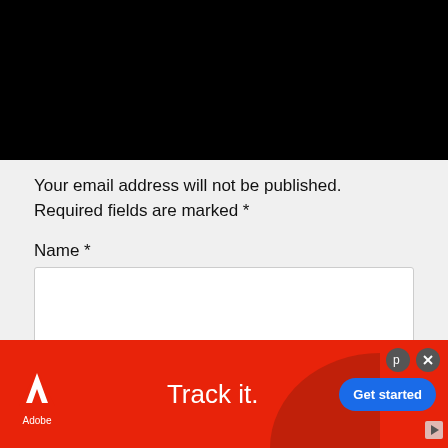[Figure (other): Black rectangle covering the top portion of the page (video or image placeholder)]
Your email address will not be published. Required fields are marked *
Name *
[Figure (other): Empty white text input field for Name]
Email *
[Figure (other): Adobe advertisement banner with red background, Adobe logo, 'Track it.' text, and 'Get started' button]